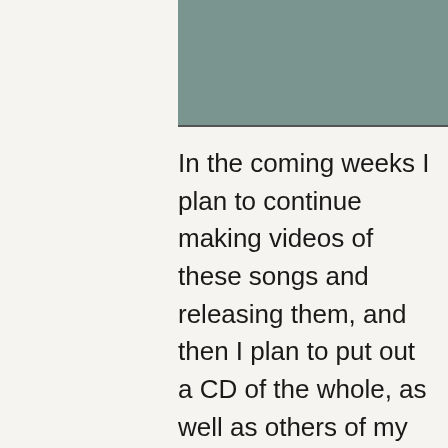[Figure (photo): Partial photo with muted green/grey tones, cropped at the top of the page]
In the coming weeks I plan to continue making videos of these songs and releasing them, and then I plan to put out a CD of the whole, as well as others of my songs (and a wicked cover song). The videos will all be quite different; the first one I did while walking around Paris and being filmed by Raphaëlle, and adding two bits of “mystery footage” from the past and from elsewhere in the world that I took – see if you can spot it! This time, with “Crazy Lady,” I